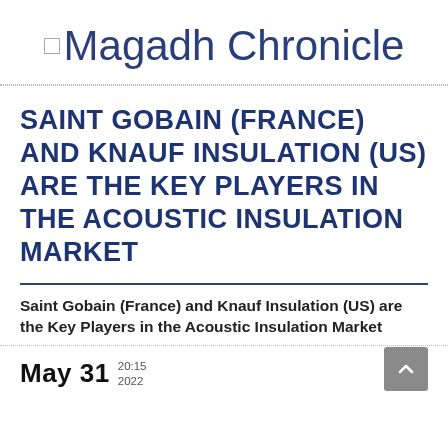Magadh Chronicle
SAINT GOBAIN (FRANCE) AND KNAUF INSULATION (US) ARE THE KEY PLAYERS IN THE ACOUSTIC INSULATION MARKET
Saint Gobain (France) and Knauf Insulation (US) are the Key Players in the Acoustic Insulation Market
May 31  20:15  2022